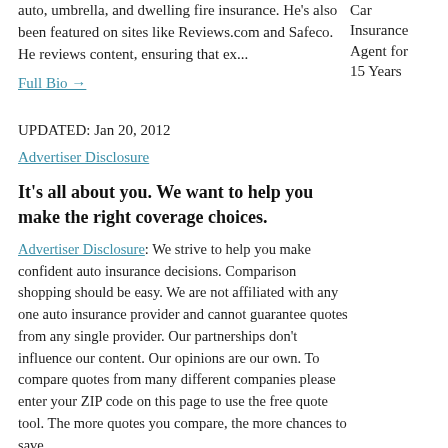auto, umbrella, and dwelling fire insurance. He's also been featured on sites like Reviews.com and Safeco. He reviews content, ensuring that ex...
Car Insurance Agent for 15 Years
Full Bio →
UPDATED: Jan 20, 2012
Advertiser Disclosure
It's all about you. We want to help you make the right coverage choices.
Advertiser Disclosure: We strive to help you make confident auto insurance decisions. Comparison shopping should be easy. We are not affiliated with any one auto insurance provider and cannot guarantee quotes from any single provider. Our partnerships don't influence our content. Our opinions are our own. To compare quotes from many different companies please enter your ZIP code on this page to use the free quote tool. The more quotes you compare, the more chances to save.
Editorial Guidelines: We are a free online resource for anyone interested in learning more about auto insurance. Our goal is to be